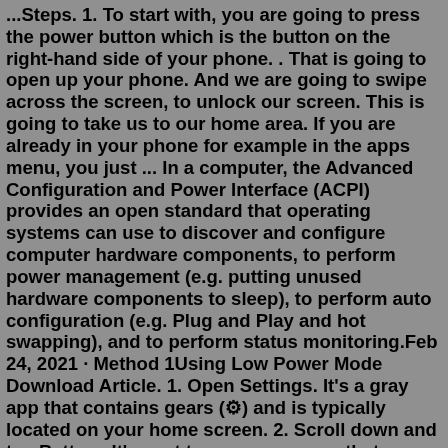...Steps. 1. To start with, you are going to press the power button which is the button on the right-hand side of your phone. . That is going to open up your phone. And we are going to swipe across the screen, to unlock our screen. This is going to take us to our home area. If you are already in your phone for example in the apps menu, you just ... In a computer, the Advanced Configuration and Power Interface (ACPI) provides an open standard that operating systems can use to discover and configure computer hardware components, to perform power management (e.g. putting unused hardware components to sleep), to perform auto configuration (e.g. Plug and Play and hot swapping), and to perform status monitoring.Feb 24, 2021 · Method 1Using Low Power Mode Download Article. 1. Open Settings. It's a gray app that contains gears (⚙) and is typically located on your home screen. 2. Scroll down and tap Battery. It's next to a green square that contains a white battery icon. 3. Slide "Low Power Mode" to the "On" position. Aug 03, 2021 · Standard